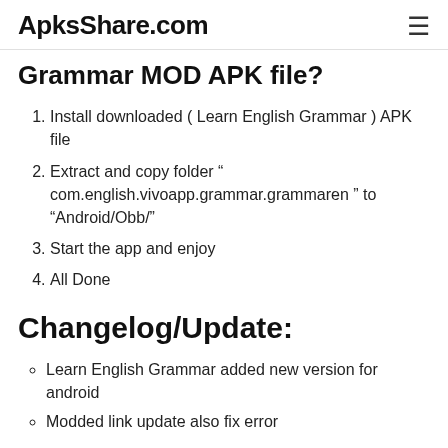ApksShare.com
Grammar MOD APK file?
Install downloaded ( Learn English Grammar ) APK file
Extract and copy folder " com.english.vivoapp.grammar.grammaren " to "Android/Obb/"
Start the app and enjoy
All Done
Changelog/Update:
Learn English Grammar added new version for android
Modded link update also fix error